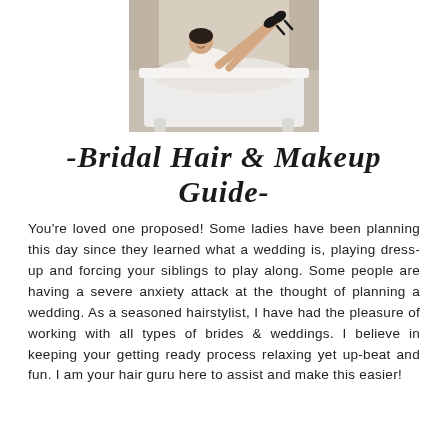[Figure (photo): A bride in a white bathtub, smiling, with legs raised up, wearing high heels. The image is cropped showing the tub from an angle.]
-Bridal Hair & Makeup Guide-
You're loved one proposed! Some ladies have been planning this day since they learned what a wedding is, playing dress-up and forcing your siblings to play along. Some people are having a severe anxiety attack at the thought of planning a wedding. As a seasoned hairstylist, I have had the pleasure of working with all types of brides & weddings. I believe in keeping your getting ready process relaxing yet up-beat and fun. I am your hair guru here to assist and make this easier!